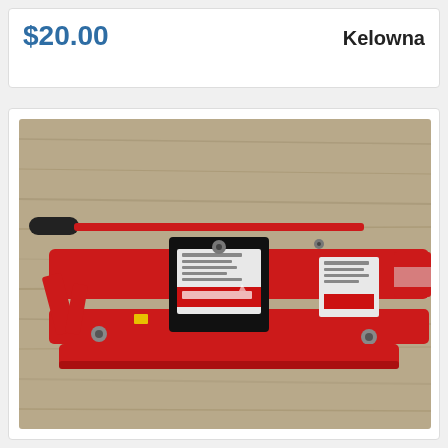$20.00
Kelowna
[Figure (photo): Top-down view of a red hydraulic trolley jack (MotoMaster brand) lying flat on a wood-grain surface, with a black rubber-handled pump rod and white warning labels visible on the body.]